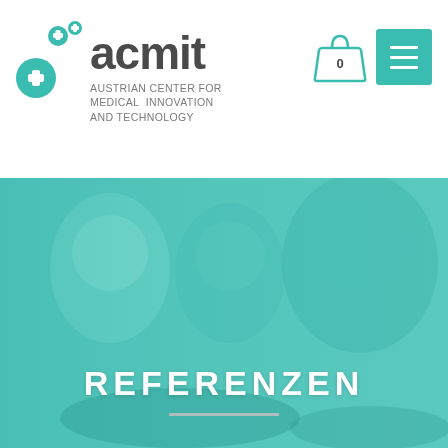[Figure (logo): ACMIT logo with teal cross icons and the text 'acmit AUSTRIAN CENTER FOR MEDICAL INNOVATION AND TECHNOLOGY']
[Figure (other): Teal-tinted shopping bag icon with '0' label and teal menu/hamburger icon button]
[Figure (photo): Medical professionals in surgical gowns, masks, hairnets and gloves working in a clinical setting, overlaid with teal color wash]
REFERENZEN